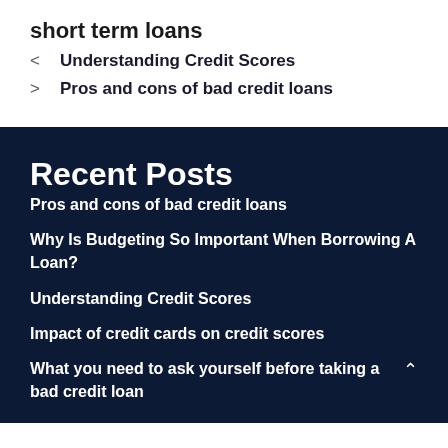short term loans
< Understanding Credit Scores
> Pros and cons of bad credit loans
Recent Posts
Pros and cons of bad credit loans
Why Is Budgeting So Important When Borrowing A Loan?
Understanding Credit Scores
Impact of credit cards on credit scores
What you need to ask yourself before taking a bad credit loan